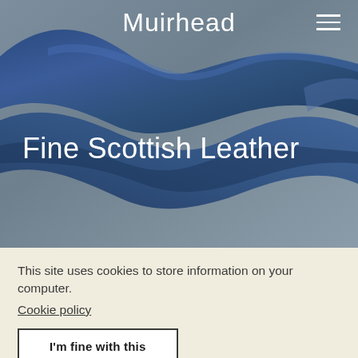[Figure (photo): Hero image of a flowing blue fabric/silk wave against a grey background with 'Muirhead' brand name and hamburger menu in the header, and 'Fine Scottish Leather' as the main title overlaid on the image]
Muirhead
Fine Scottish Leather
This site uses cookies to store information on your computer.
Cookie policy
I'm fine with this